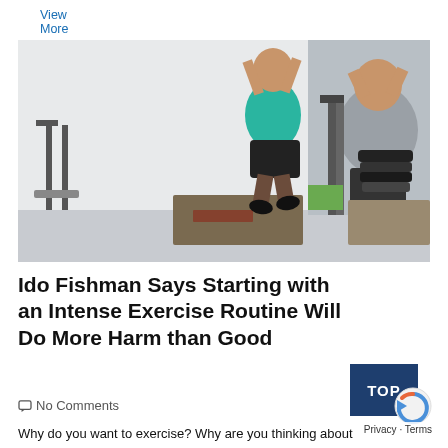View More »
[Figure (photo): Two men in a gym setting. One man wearing a teal tank top and black shorts is jumping up from a box platform with arms raised overhead. Another man in a gray shirt stands in the background with hands on head. Gym equipment including weight plates and racks visible.]
Ido Fishman Says Starting with an Intense Exercise Routine Will Do More Harm than Good
No Comments
Why do you want to exercise? Why are you thinking about